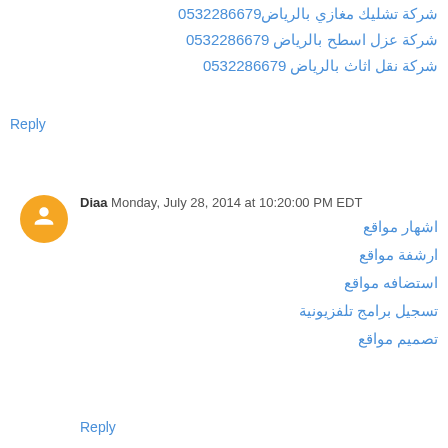شركة عزل اسطح بالرياض 0532286679
شركة نقل اثاث بالرياض 0532286679
Reply
Diaa  Monday, July 28, 2014 at 10:20:00 PM EDT
اشهار مواقع
ارشفة مواقع
استضافه مواقع
تسجيل برامج تلفزيونية
تصميم مواقع
Reply